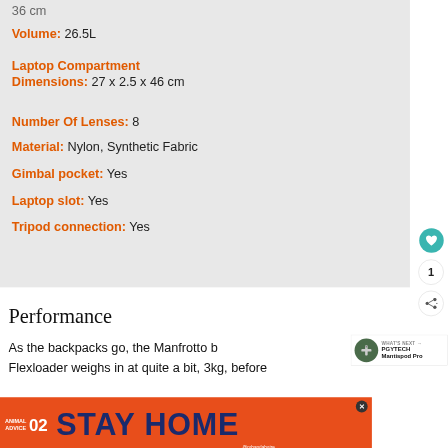36 cm
Volume: 26.5L
Laptop Compartment Dimensions: 27 x 2.5 x 46 cm
Number Of Lenses: 8
Material: Nylon, Synthetic Fabric
Gimbal pocket: Yes
Laptop slot: Yes
Tripod connection: Yes
Performance
As the backpacks go, the Manfrotto b Flexloader weighs in at quite a bit, 3kg, before
[Figure (screenshot): WHAT'S NEXT promo box showing PGYTECH Mantispod Pro with camera tripod image]
[Figure (infographic): ANIMAL ADVICE STAY HOME advertisement banner with orange background and illustrated mushrooms/animals]